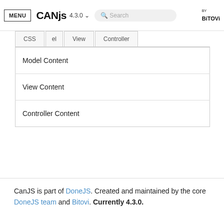MENU  CanJS  4.3.0  Search  BY BITOVI
| CSS | el | View | Controller |
| --- | --- | --- | --- |
| Model Content |
| View Content |
| Controller Content |
CanJS is part of DoneJS. Created and maintained by the core DoneJS team and Bitovi. Currently 4.3.0.